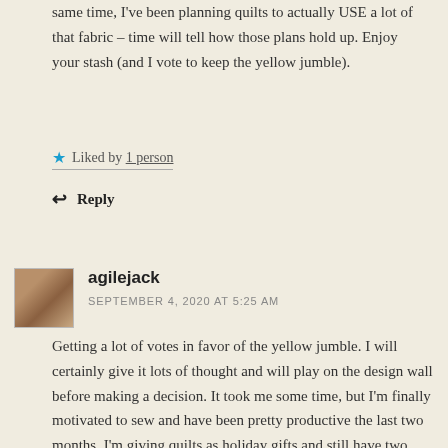same time, I've been planning quilts to actually USE a lot of that fabric – time will tell how those plans hold up. Enjoy your stash (and I vote to keep the yellow jumble).
★ Liked by 1 person
↩ Reply
agilejack
SEPTEMBER 4, 2020 AT 5:25 AM
Getting a lot of votes in favor of the yellow jumble. I will certainly give it lots of thought and will play on the design wall before making a decision. It took me some time, but I'm finally motivated to sew and have been pretty productive the last two months. I'm giving quilts as holiday gifts and still have two tops to get done.